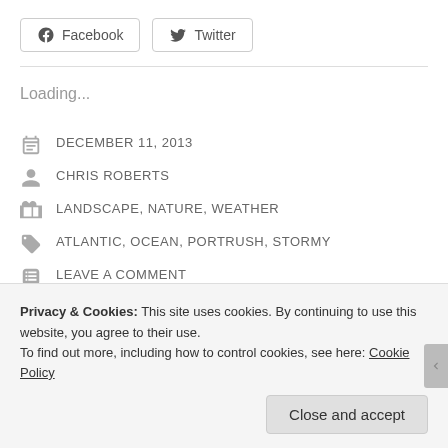Facebook  Twitter
Loading...
DECEMBER 11, 2013
CHRIS ROBERTS
LANDSCAPE, NATURE, WEATHER
ATLANTIC, OCEAN, PORTRUSH, STORMY
LEAVE A COMMENT
Privacy & Cookies: This site uses cookies. By continuing to use this website, you agree to their use.
To find out more, including how to control cookies, see here: Cookie Policy
Close and accept